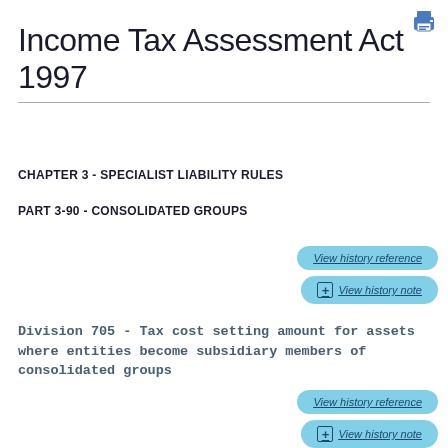Income Tax Assessment Act 1997
CHAPTER 3 - SPECIALIST LIABILITY RULES
PART 3-90 - CONSOLIDATED GROUPS
View history reference
+ View history note
Division 705 - Tax cost setting amount for assets where entities become subsidiary members of consolidated groups
View history reference
+ View history note